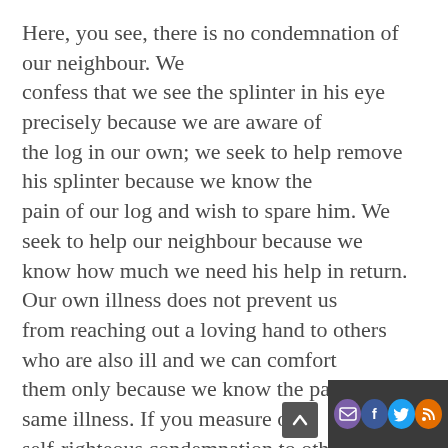Here, you see, there is no condemnation of our neighbour. We confess that we see the splinter in his eye precisely because we are aware of the log in our own; we seek to help remove his splinter because we know the pain of our log and wish to spare him. We seek to help our neighbour because we know how much we need his help in return. Our own illness does not prevent us from reaching out a loving hand to others who are also ill and we can comfort them only because we know the pain of the same illness. If you measure out self-righteous condemnation to others, you may expect a truly righteous condemnation in return; if you measure out lo... understanding, consolation and